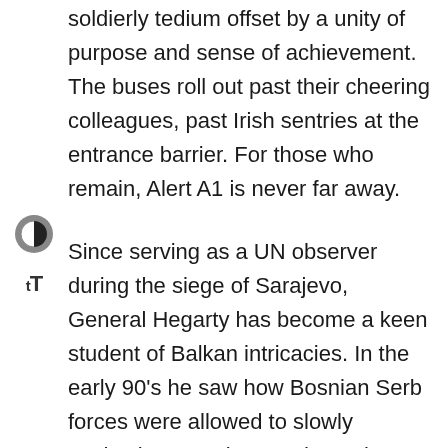soldierly tedium offset by a unity of purpose and sense of achievement. The buses roll out past their cheering colleagues, past Irish sentries at the entrance barrier. For those who remain, Alert A1 is never far away.
Since serving as a UN observer during the siege of Sarajevo, General Hegarty has become a keen student of Balkan intricacies. In the early 90's he saw how Bosnian Serb forces were allowed to slowly asphyxiate Sarajevo and openly commit genocide. NATO stood by for three years. For him, the impotence of witnessing such an obscenity left its own mark.